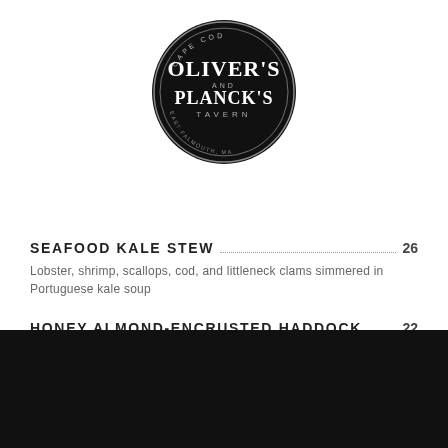[Figure (logo): Oliver's and Planck's Tavern oval logo on black background, Cape Cod]
SEAFOOD KALE STEW 26
Lobster, shrimp, scallops, cod, and littleneck clams simmered in Portuguese kale soup
HONEY ALMOND-ENCRUSTED HADDOCK 22
Topped with our cranberry glaze
ROAST COD ATHENA 23
Day boat cod topped with marinated tomatoes, black olives, garlic, scallions, and feta